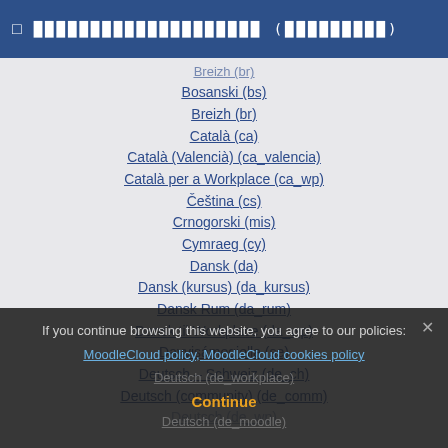❑  ░░░░░░░░░░░░░░░░░░░ (░░░░░░░░░)
Breizh (br)
Bosanski (bs)
Breizh (br)
Català (ca)
Català (Valencià) (ca_valencia)
Català per a Workplace (ca_wp)
Čeština (cs)
Crnogorski (mis)
Cymraeg (cy)
Dansk (da)
Dansk (kursus) (da_kursus)
Dansk Rum (da_rum)
Dansk til Workplace (da_wp)
Davvisámegiella (se)
Deutsch – Schweiz (de_ch)
Deutsch (community) (de_comm)
Deutsch (de_wp)
If you continue browsing this website, you agree to our policies: MoodleCloud policy, MoodleCloud cookies policy
Continue